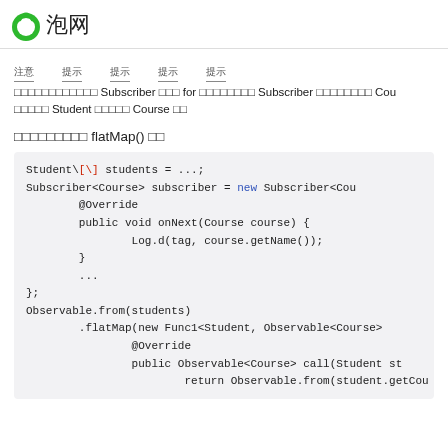泡网
□□□□□□□□□□□□ Subscriber □□ for □□□□□□□ Subscriber □□□□□□□□ Cou□□□□□ Student □□□□□ Course □□
□□□□□□□□□ flatMap() □□
[Figure (screenshot): Code block showing Java/RxJava code with Student array, Subscriber, Observable.from, flatMap, @Override, onNext, Log.d, Observable<Course> call, return Observable.from(student.getCou...)]